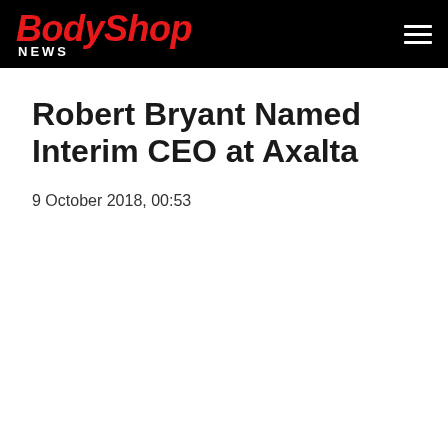BodyShop NEWS
Robert Bryant Named Interim CEO at Axalta
9 October 2018, 00:53